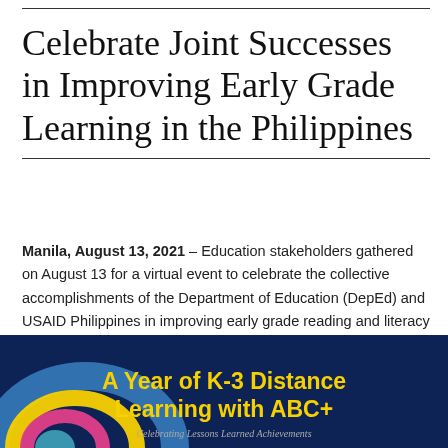Celebrate Joint Successes in Improving Early Grade Learning in the Philippines
Manila, August 13, 2021 – Education stakeholders gathered on August 13 for a virtual event to celebrate the collective accomplishments of the Department of Education (DepEd) and USAID Philippines in improving early grade reading and literacy in the country this past year, amid the challenges posed by the COVID-19 pandemic.
[Figure (illustration): Dark navy blue promotional banner reading 'A Year of K-3 Distance Learning with ABC+' in bold yellow text, with decorative colorful circular arc shapes at the bottom left and cursive subtitle text at the bottom.]